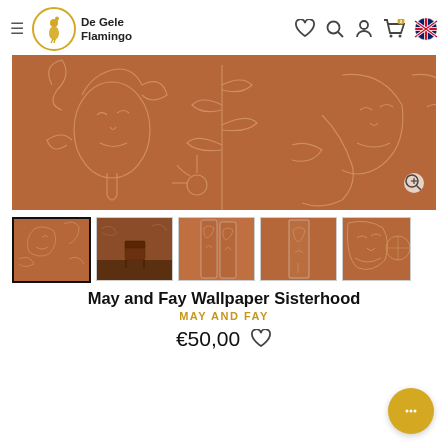De Gele Flamingo
[Figure (photo): Main product image: terracotta-colored wallpaper with white line-art illustrations of female faces and botanical leaves (Sisterhood pattern)]
[Figure (photo): Thumbnail 1 (selected): close-up of Sisterhood wallpaper pattern, terracotta with white line art faces and leaves]
[Figure (photo): Thumbnail 2: room scene with chair and Sisterhood wallpaper in background]
[Figure (photo): Thumbnail 3: wallpaper roll view of Sisterhood pattern]
[Figure (photo): Thumbnail 4: wallpaper panel showing Sisterhood pattern]
[Figure (photo): Thumbnail 5 (partial): close-up of Sisterhood wallpaper with face detail]
May and Fay Wallpaper Sisterhood
MAY AND FAY
€50,00